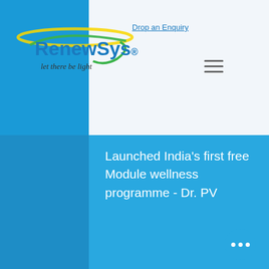[Figure (logo): RenewSys logo with tagline 'let there be light' and decorative arc/swoop graphic]
Drop an Enquiry
Launched India's first free Module wellness programme - Dr. PV
First to launch 5 BB and 6 BB solar PV Cells, Made in India
First in India to launch Dr. PV - a free Module wellness programme